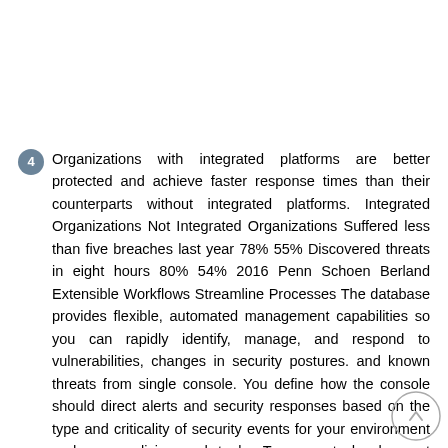Organizations with integrated platforms are better protected and achieve faster response times than their counterparts without integrated platforms. Integrated Organizations Not Integrated Organizations Suffered less than five breaches last year 78% 55% Discovered threats in eight hours 80% 54% 2016 Penn Schoen Berland Extensible Workflows Streamline Processes The database provides flexible, automated management capabilities so you can rapidly identify, manage, and respond to vulnerabilities, changes in security postures. and known threats from single console. You define how the console should direct alerts and security responses based on the type and criticality of security events for your environment and your policies and tools. To support development operations and security operations, the platform allows you to create automated workflows between your security and IT operations systems to quickly remediate